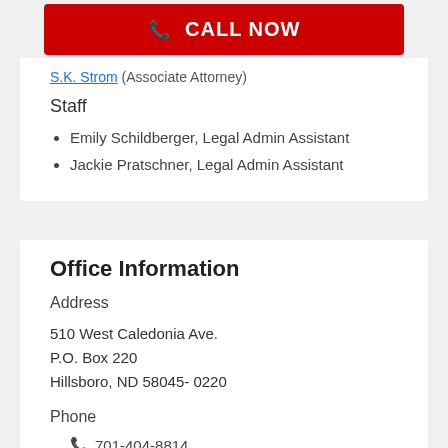[Figure (other): Red CALL NOW button with phone icon]
S.K. Strom (Associate Attorney)
Staff
Emily Schildberger, Legal Admin Assistant
Jackie Pratschner, Legal Admin Assistant
Office Information
Address
510 West Caledonia Ave.
P.O. Box 220
Hillsboro, ND 58045- 0220
Phone
701-404-8814